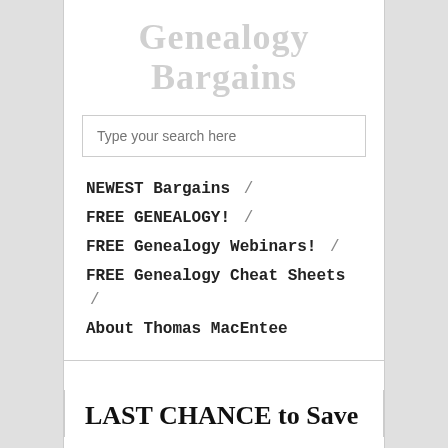[Figure (logo): Genealogy Bargains website logo with large faded gray text showing 'Genealogy' on first line and 'Bargains' on second line]
Type your search here
NEWEST Bargains /
FREE GENEALOGY! /
FREE Genealogy Webinars! /
FREE Genealogy Cheat Sheets /
About Thomas MacEntee
LAST CHANCE to Save